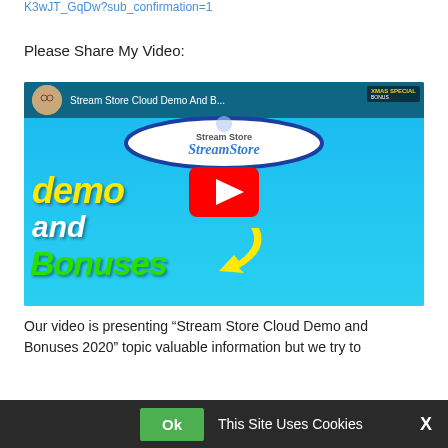K3wJT_GqDw?sub_confirmation=1
Please Share My Video:
[Figure (screenshot): YouTube video thumbnail for 'Stream Store Cloud Demo And B...' showing a blue background with 'DEMO AND BONUSES' text in yellow, white, and green, a YouTube play button in red, a yellow arrow, and a woman on the right side. An oval logo reads 'StreamStore' in the center top area.]
Our video is presenting "Stream Store Cloud Demo and Bonuses 2020" topic valuable information but we try to
Ok   This Site Uses Cookies   X